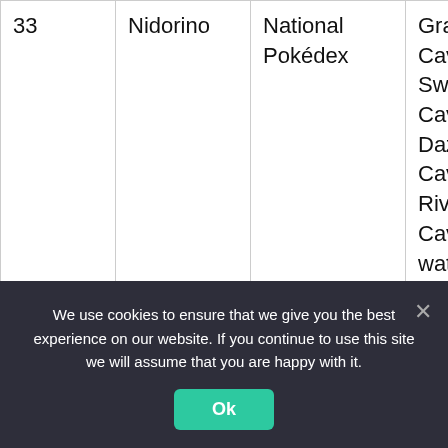| 33 | Nidorino | National Pokédex | Grassland Cave, Swampy Cave, Dazzling Cave, Riverbank Cave, Still-water Cave, Sunlit Cave, Stargleam Cavern, Borough... |
We use cookies to ensure that we give you the best experience on our website. If you continue to use this site we will assume that you are happy with it.